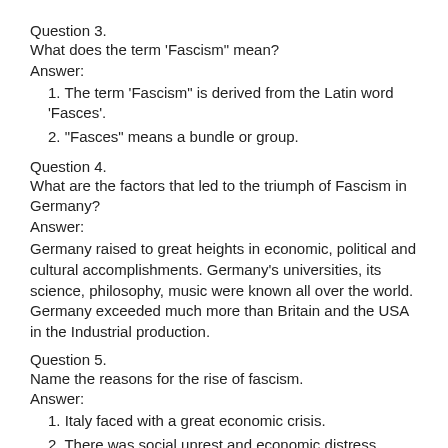Question 3.
What does the term ‘Fascism” mean?
Answer:
1. The term ‘Fascism” is derived from the Latin word ‘Fasces'.
2. “Fasces” means a bundle or group.
Question 4.
What are the factors that led to the triumph of Fascism in Germany?
Answer:
Germany raised to great heights in economic, political and cultural accomplishments. Germany’s universities, its science, philosophy, music were known all over the world. Germany exceeded much more than Britain and the USA in the Industrial production.
Question 5.
Name the reasons for the rise of fascism.
Answer:
1. Italy faced with a great economic crisis.
2. There was social unrest and economic distress.
3. There rise of fascist leadership...